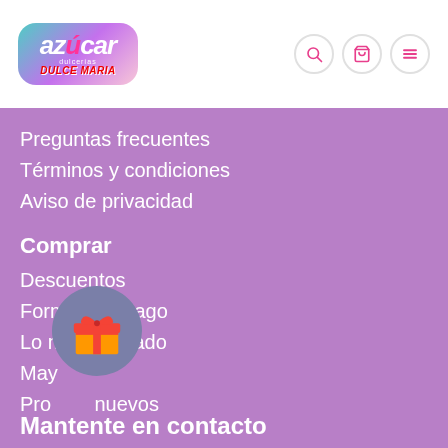[Figure (logo): Azúcar Dulcerías / Dulce Maria logo with colorful rounded rectangle background]
Preguntas frecuentes
Términos y condiciones
Aviso de privacidad
Comprar
Descuentos
Formas de Pago
Lo más buscado
May…
Pro… nuevos
[Figure (illustration): Gift/present icon in a circular grey-blue background overlapping the menu items]
Mantente en contacto